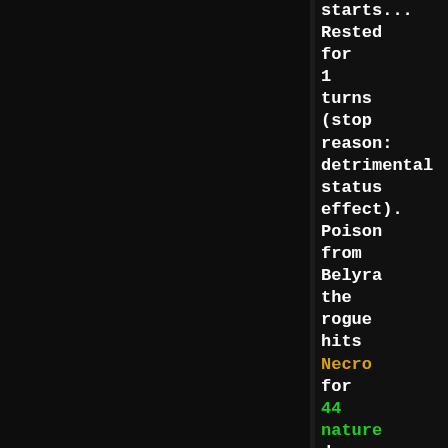starts... Rested for 1 turns (stop reason: detrimental status effect). Poison from Belyra the rogue hits Necro for 44 nature damage.